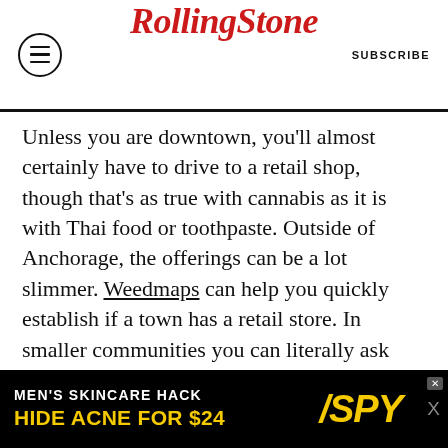RollingStone | SUBSCRIBE
Unless you are downtown, you'll almost certainly have to drive to a retail shop, though that's as true with cannabis as it is with Thai food or toothpaste. Outside of Anchorage, the offerings can be a lot slimmer. Weedmaps can help you quickly establish if a town has a retail store. In smaller communities you can literally ask people on the street and they'll be able to tell you if a local shop exists because there typically aren't that many businesses.
For much of 2017, Alaska had a problem with supply. Stores couldn't keep product on the shelves, would quickly sell out, and were paying through the nose...
[Figure (other): Advertisement banner: MEN'S SKINCARE HACK / HIDE ACNE FOR $24 / SPY logo]